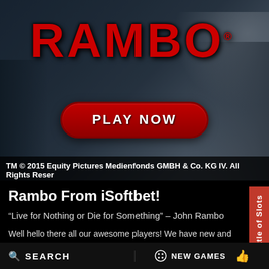[Figure (screenshot): Rambo slot game banner with large red RAMBO logo at top, dark forest/snowy background, red PLAY NOW button in center, and a silhouette figure on the right side.]
TM © 2015 Equity Pictures Medienfonds GMBH & Co. KG IV. All Rights Reser
Rambo From iSoftbet!
“Live for Nothing or Die for Something” – John Rambo
Well hello there all our awesome players! We have new and aw these dark and coldish nights and it has created the one and on quote you can guess which character this video slot is based o course Rambo! John James Rambo who was born July 6, 1947 Rambo saga. First this fictional character was just causing trouble in year 1982, they made a movie about this awesome dude. And the ma muscle guy is, of course, Sylvester Stallone! So I bet you already hav video slot is full of action and excitement and we can assure you that
SEARCH    NEW GAMES